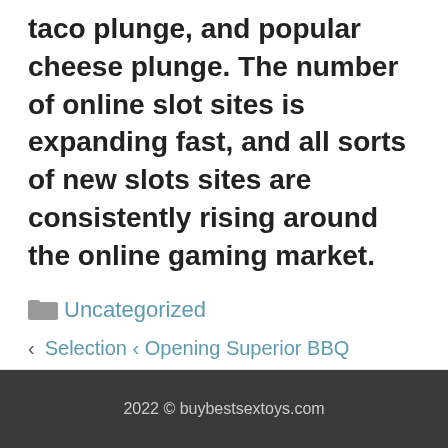taco plunge, and popular cheese plunge. The number of online slot sites is expanding fast, and all sorts of new slots sites are consistently rising around the online gaming market.
Categories Uncategorized
‹ Selection ‹ Opening Superior BBQ
› Black color Computer chip Poker
2022 © buybestsextoys.com